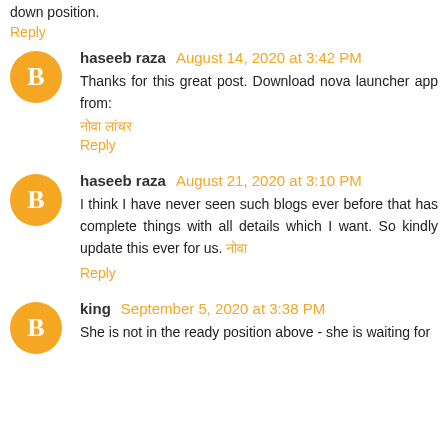down position.
Reply
haseeb raza  August 14, 2020 at 3:42 PM
Thanks for this great post. Download nova launcher app from:
नोवा लांचर
Reply
haseeb raza  August 21, 2020 at 3:10 PM
I think I have never seen such blogs ever before that has complete things with all details which I want. So kindly update this ever for us. नोवा
Reply
king  September 5, 2020 at 3:38 PM
She is not in the ready position above - she is waiting for